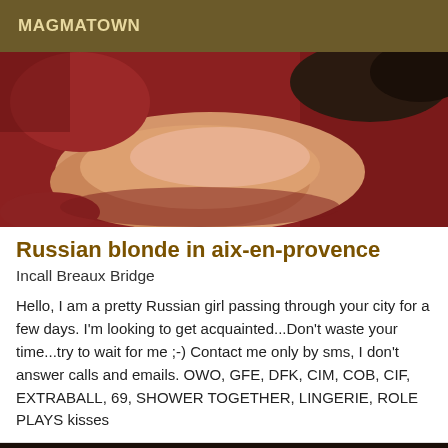MAGMATOWN
[Figure (photo): Close-up photo of a person's arm/leg resting on a red surface with dark background]
Russian blonde in aix-en-provence
Incall Breaux Bridge
Hello, I am a pretty Russian girl passing through your city for a few days. I'm looking to get acquainted...Don't waste your time...try to wait for me ;-) Contact me only by sms, I don't answer calls and emails. OWO, GFE, DFK, CIM, COB, CIF, EXTRABALL, 69, SHOWER TOGETHER, LINGERIE, ROLE PLAYS kisses
[Figure (photo): Partial photo at the bottom of the page showing a dark background with a person]